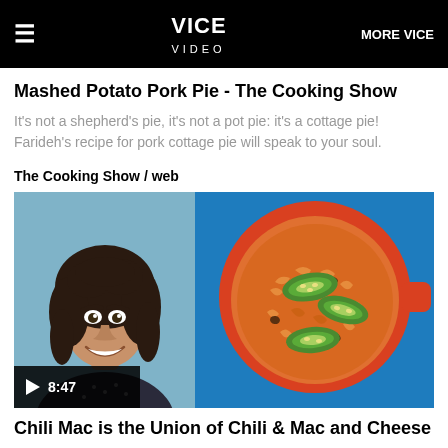VICE VIDEO | MORE VICE
Mashed Potato Pork Pie - The Cooking Show
It's not a shepherd's pie, it's not a pot pie: it's a cottage pie! Farideh's recipe for pork cottage pie will speak to your soul.
The Cooking Show / web
[Figure (screenshot): Video thumbnail showing a smiling woman with curly dark hair on the left, and a red bowl of chili mac and cheese topped with jalapeño slices on the right, with a play button showing 8:47 duration]
Chili Mac is the Union of Chili & Mac and Cheese